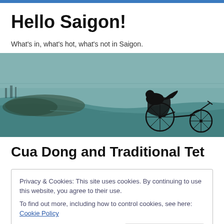Hello Saigon!
What's in, what's hot, what's not in Saigon.
[Figure (photo): Aerial view of a river winding through Saigon with a cyclo/rickshaw silhouette superimposed over the image]
Cua Dong and Traditional Tet
Privacy & Cookies: This site uses cookies. By continuing to use this website, you agree to their use.
To find out more, including how to control cookies, see here: Cookie Policy
Tet holiday. But… no. Our office was still 75% filled with